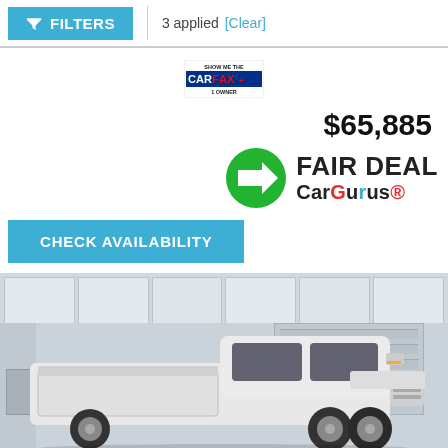FILTERS | 3 applied [Clear]
[Figure (logo): SHOW ME THE CARFAX 1 OWNER badge/logo]
$65,885
[Figure (logo): FAIR DEAL CarGurus® badge with green circle arrow icon]
CHECK AVAILABILITY
[Figure (photo): White pickup truck (lifted, with accessories) parked in an indoor showroom with grey paneled ceiling and garage door in background]